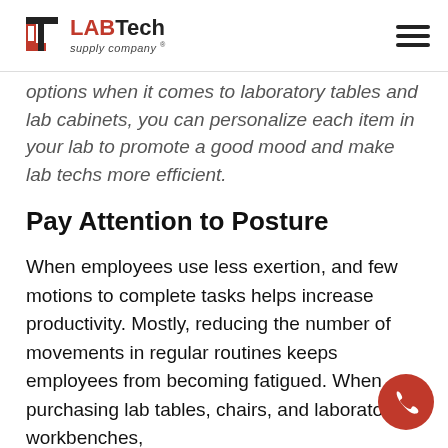LABTech supply company
options when it comes to laboratory tables and lab cabinets, you can personalize each item in your lab to promote a good mood and make lab techs more efficient.
Pay Attention to Posture
When employees use less exertion, and few motions to complete tasks helps increase productivity. Mostly, reducing the number of movements in regular routines keeps employees from becoming fatigued. When purchasing lab tables, chairs, and laboratory workbenches,